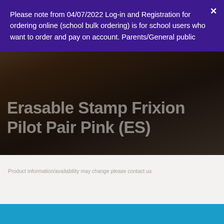Please note from 04/07/2022 Log-in and Registration for ordering online (school bulk ordering) is for school users who want to order and pay on account. Parents/General public
Erasable Stamp Frixion Pilot Pair Pink (ES)
Product information/availability may change please contact us